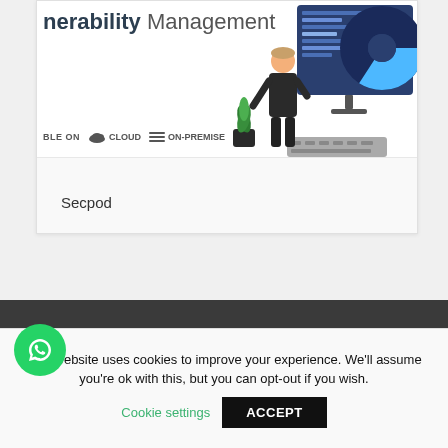nerability Management
[Figure (illustration): A person standing in front of a monitor displaying code and a chart, with a plant beside them]
BLE ON  CLOUD  ON-PREMISE
Secpod
OUR CUSTOMERS SAYS
This website uses cookies to improve your experience. We'll assume you're ok with this, but you can opt-out if you wish.
Cookie settings
ACCEPT